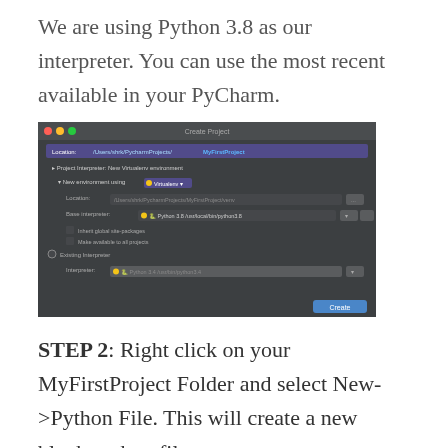We are using Python 3.8 as our interpreter. You can use the most recent available in your PyCharm.
[Figure (screenshot): PyCharm Create Project dialog showing project location set to MyFirstProject, New Virtualenv environment selected, Base interpreter set to Python 3.8, and Existing Interpreter option with Python 3.4. A Create button is visible at the bottom right.]
STEP 2: Right click on your MyFirstProject Folder and select New->Python File. This will create a new blank python file.